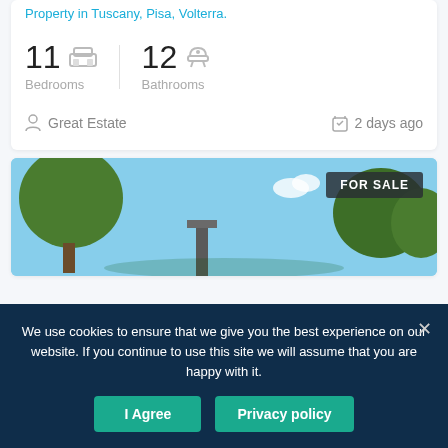Property in Tuscany, Pisa, Volterra.
11 Bedrooms | 12 Bathrooms
Great Estate  |  2 days ago
[Figure (photo): Outdoor photo of a Tuscan property with trees and blue sky, with a FOR SALE badge in the upper right corner]
We use cookies to ensure that we give you the best experience on our website. If you continue to use this site we will assume that you are happy with it.
I Agree  |  Privacy policy